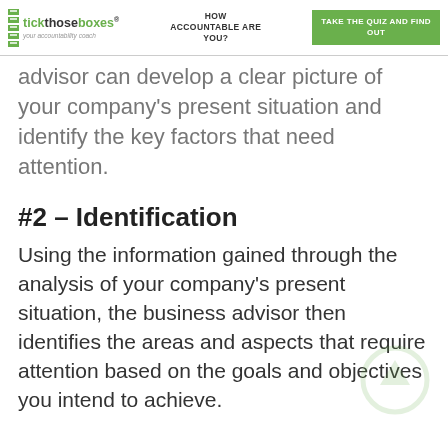tickthoseboxes® your accountability coach | HOW ACCOUNTABLE ARE YOU? | TAKE THE QUIZ AND FIND OUT
advisor can develop a clear picture of your company's present situation and identify the key factors that need attention.
#2 – Identification
Using the information gained through the analysis of your company's present situation, the business advisor then identifies the areas and aspects that require attention based on the goals and objectives you intend to achieve.